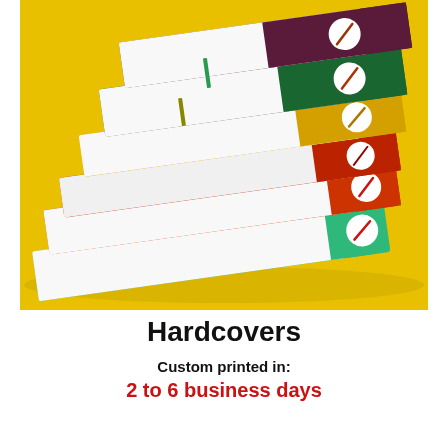[Figure (photo): A stack of colorful hardcover binders/books on a yellow background. From top to bottom: dark purple/maroon, dark green, yellow/gold, red/orange, and bright green covers. Each spine has a white circular label with a diagonal line. The pages are white, visible from the side.]
Hardcovers
Custom printed in: 2 to 6 business days